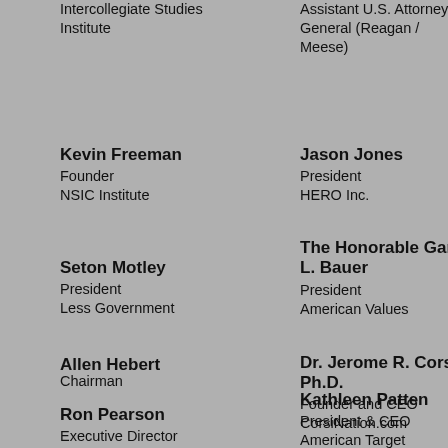Intercollegiate Studies Institute
Assistant U.S. Attorney General (Reagan / Meese)
Kevin Freeman
Founder
NSIC Institute
Jason Jones
President
HERO Inc.
Seton Motley
President
Less Government
The Honorable Gary L. Bauer
President
American Values
Allen Hebert
Chairman
American-Chinese Fellowship of Houston
Dr. Jerome R. Corsi, Ph.D.
Founder and CEO
CorsiNation.com
Ron Pearson
Executive Director
Conservative Victory Fund
Kathleen Patten
President & CEO
American Target